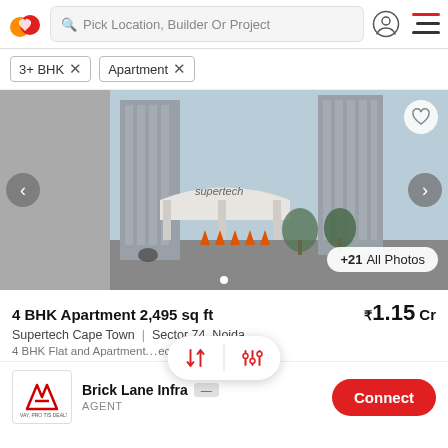Pick Location, Builder Or Project
3+ BHK ×
Apartment ×
[Figure (photo): Exterior photo of Supertech Cape Town apartment complex in Sector 74, Noida — high-rise towers with a white entrance canopy]
+21 All Photos
4 BHK Apartment 2,495 sq ft
₹1.15 Cr
Supertech Cape Town | Sector 74, Noida
4 BHK Flat and Apartment ... ech Cape Town ... More
Brick Lane Infra
AGENT
Connect